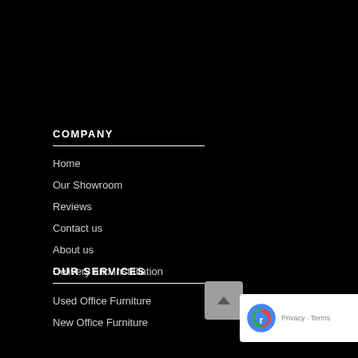COMPANY
Home
Our Showroom
Reviews
Contact us
About us
Delivery and Installation
OUR SERVICES
Used Office Furniture
New Office Furniture
[Figure (other): reCAPTCHA badge with privacy and terms links, and a scroll-to-top button overlay]